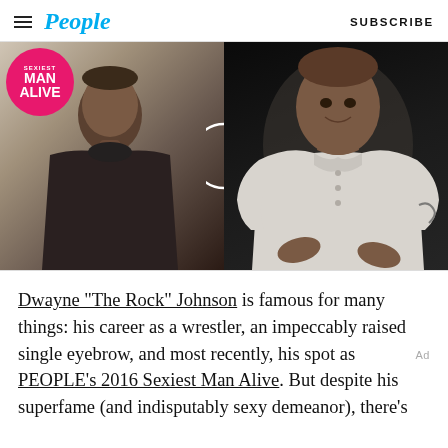People | SUBSCRIBE
[Figure (photo): Split image showing Dwayne 'The Rock' Johnson then and now. Left side: younger Johnson in a dark turtleneck with chain necklace, next to a pink 'Sexiest Man Alive' badge. Right side: present-day Johnson in a white Henley shirt, muscular, smiling, gesturing with hands against dark background.]
Dwayne "The Rock" Johnson is famous for many things: his career as a wrestler, an impeccably raised single eyebrow, and most recently, his spot as PEOPLE's 2016 Sexiest Man Alive. But despite his superfame (and indisputably sexy demeanor), there's